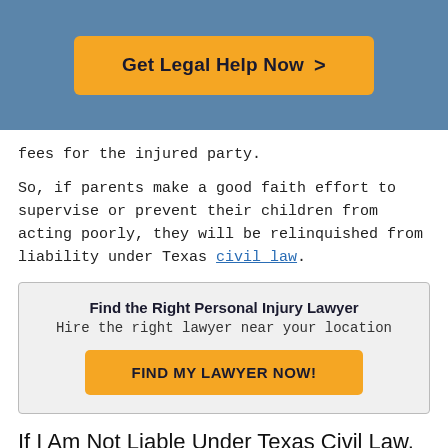[Figure (other): Blue banner with orange button labeled 'Get Legal Help Now >']
fees for the injured party.
So, if parents make a good faith effort to supervise or prevent their children from acting poorly, they will be relinquished from liability under Texas civil law.
Find the Right Personal Injury Lawyer
Hire the right lawyer near your location
FIND MY LAWYER NOW!
If I Am Not Liable Under Texas Civil Law, Will I be Free from Responsibility?